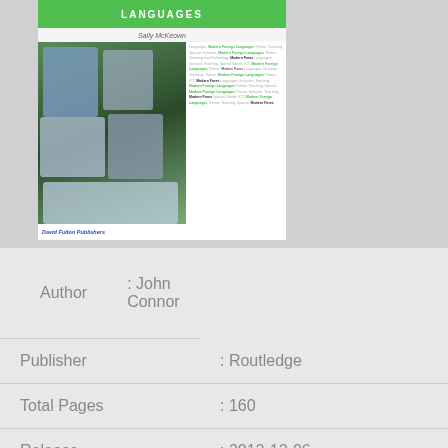[Figure (photo): Book cover showing children with text about Modern Foreign Languages, by Sally McKeown, published by David Fulton Publishers]
| Field | Value |
| --- | --- |
| Author | : John Connor |
| Publisher | : Routledge |
| Total Pages | : 160 |
| Release | : 2012-12-06 |
| ISBN 10 | : 9781136770777 |
| ISBN 13 | : 1136770771 |